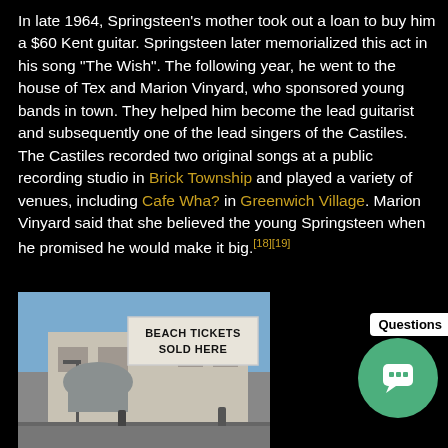In late 1964, Springsteen's mother took out a loan to buy him a $60 Kent guitar. Springsteen later memorialized this act in his song "The Wish". The following year, he went to the house of Tex and Marion Vinyard, who sponsored young bands in town. They helped him become the lead guitarist and subsequently one of the lead singers of the Castiles. The Castiles recorded two original songs at a public recording studio in Brick Township and played a variety of venues, including Cafe Wha? in Greenwich Village. Marion Vinyard said that she believed the young Springsteen when he promised he would make it big.[18][19]
[Figure (photo): Black and white photo of a building with a sign reading BEACH TICKETS SOLD HERE, with a boardwalk and structures visible in the background under a blue sky.]